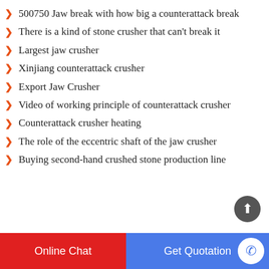500750 Jaw break with how big a counterattack break
There is a kind of stone crusher that can't break it
Largest jaw crusher
Xinjiang counterattack crusher
Export Jaw Crusher
Video of working principle of counterattack crusher
Counterattack crusher heating
The role of the eccentric shaft of the jaw crusher
Buying second-hand crushed stone production line
Online Chat | Get Quotation